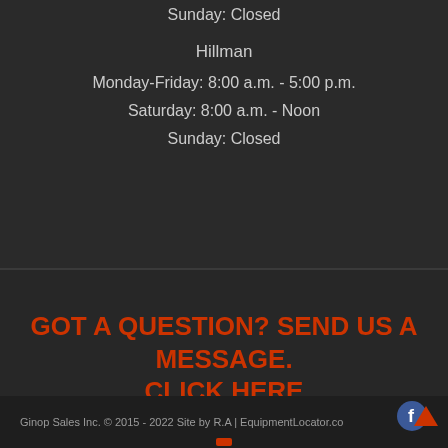Sunday: Closed
Hillman
Monday-Friday: 8:00 a.m. - 5:00 p.m.
Saturday: 8:00 a.m. - Noon
Sunday: Closed
GOT A QUESTION? SEND US A MESSAGE. CLICK HERE
Ginop Sales Inc. © 2015 - 2022 Site by R.A | EquipmentLocator.com